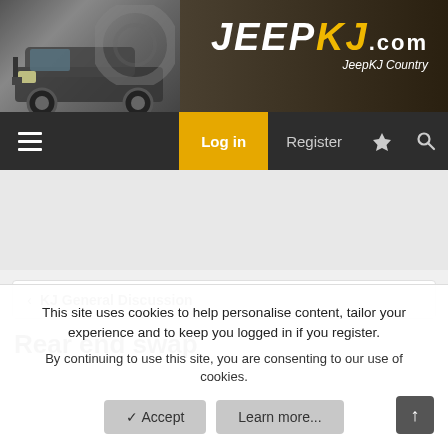[Figure (screenshot): JeepKJ.com website header banner with Jeep Liberty vehicle image on left and JEEPKJ.com logo on right over dark brownish background]
JEEPKJ.com — JeepKJ Country
Log in  Register
KJ General Discussion
Rear end swap
This site uses cookies to help personalise content, tailor your experience and to keep you logged in if you register.
By continuing to use this site, you are consenting to our use of cookies.
Accept   Learn more...